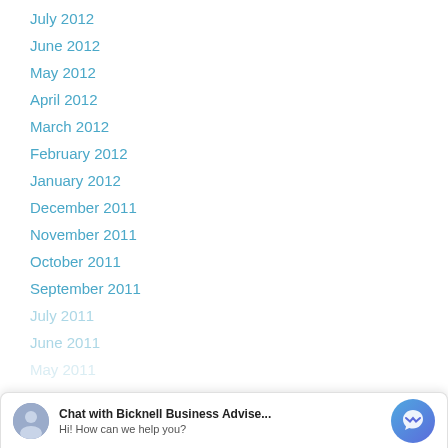July 2012
June 2012
May 2012
April 2012
March 2012
February 2012
January 2012
December 2011
November 2011
October 2011
September 2011
July 2011
June 2011
May 2011